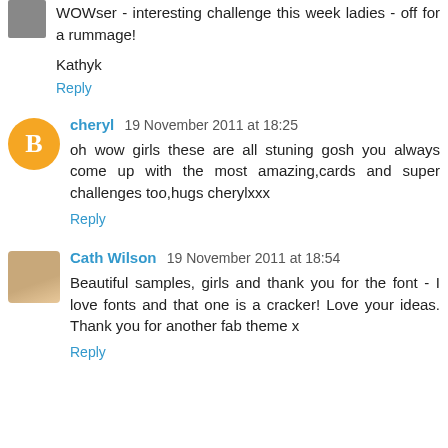WOWser - interesting challenge this week ladies - off for a rummage!
Kathyk
Reply
cheryl  19 November 2011 at 18:25
oh wow girls these are all stuning gosh you always come up with the most amazing,cards and super challenges too,hugs cherylxxx
Reply
Cath Wilson  19 November 2011 at 18:54
Beautiful samples, girls and thank you for the font - I love fonts and that one is a cracker! Love your ideas. Thank you for another fab theme x
Reply